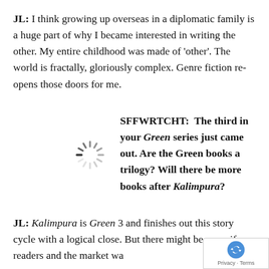JL: I think growing up overseas in a diplomatic family is a huge part of why I became interested in writing the other. My entire childhood was made of 'other'. The world is fractally, gloriously complex. Genre fiction re-opens those doors for me.
SFFWRTCHT:  The third in your Green series just came out. Are the Green books a trilogy? Will there be more books after Kalimpura?
[Figure (illustration): Loading spinner icon — circular dashed radial lines forming a spinning wheel shape]
JL: Kalimpura is Green 3 and finishes out this story cycle with a logical close. But there might be more if readers and the market wa